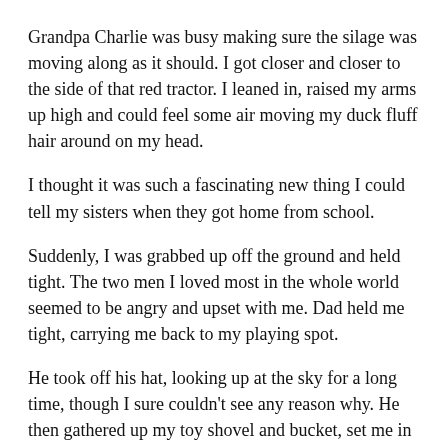Grandpa Charlie was busy making sure the silage was moving along as it should. I got closer and closer to the side of that red tractor. I leaned in, raised my arms up high and could feel some air moving my duck fluff hair around on my head.
I thought it was such a fascinating new thing I could tell my sisters when they got home from school.
Suddenly, I was grabbed up off the ground and held tight. The two men I loved most in the whole world seemed to be angry and upset with me. Dad held me tight, carrying me back to my playing spot.
He took off his hat, looking up at the sky for a long time, though I sure couldn't see any reason why. He then gathered up my toy shovel and bucket, set me in the pickup truck and drove me to the house in silence.